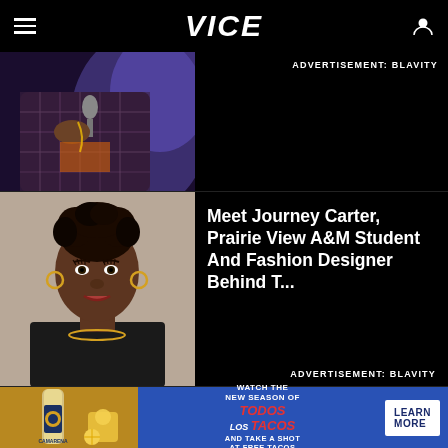VICE
ADVERTISEMENT: BLAVITY
[Figure (photo): Person in a plaid jacket holding a microphone, purple/blue lighting in the background]
[Figure (photo): Young Black woman with natural hair styled up, wearing a black top and gold necklace, smiling at the camera]
Meet Journey Carter, Prairie View A&M Student And Fashion Designer Behind T...
ADVERTISEMENT: BLAVITY
[Figure (photo): Camarena Tequila bottle next to a cocktail drink with citrus garnish]
WATCH THE NEW SEASON OF TODOS LOS TACOS AND TAKE A SHOT AT FREE TACOS
LEARN MORE